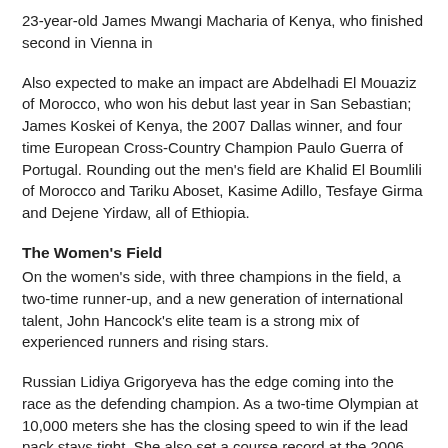23-year-old James Mwangi Macharia of Kenya, who finished second in Vienna in
Also expected to make an impact are Abdelhadi El Mouaziz of Morocco, who won his debut last year in San Sebastian; James Koskei of Kenya, the 2007 Dallas winner, and four time European Cross-Country Champion Paulo Guerra of Portugal. Rounding out the men's field are Khalid El Boumlili of Morocco and Tariku Aboset, Kasime Adillo, Tesfaye Girma and Dejene Yirdaw, all of Ethiopia.
The Women's Field
On the women's side, with three champions in the field, a two-time runner-up, and a new generation of international talent, John Hancock's elite team is a strong mix of experienced runners and rising stars.
Russian Lidiya Grigoryeva has the edge coming into the race as the defending champion. As a two-time Olympian at 10,000 meters she has the closing speed to win if the lead pack stays tight. She also set a course record at the 2006 Los Angeles Marathon and was champion at the 2005 Paris Marathon.